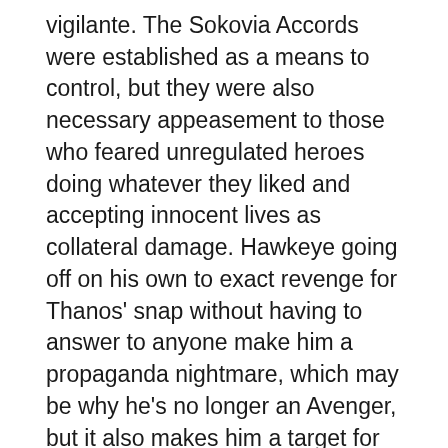vigilante. The Sokovia Accords were established as a means to control, but they were also necessary appeasement to those who feared unregulated heroes doing whatever they liked and accepting innocent lives as collateral damage. Hawkeye going off on his own to exact revenge for Thanos' snap without having to answer to anyone make him a propaganda nightmare, which may be why he's no longer an Avenger, but it also makes him a target for anyone looking to sway public opinion. Removing someone like that from the equation would be a good way of showing your colors.
There's also poetic irony in Val sending Yelena to take out Clint Barton under the falsehood that Hawkeye is responsible for Natasha's death. But the active move to recruit other legacy heroes makes the fact that Barton and Kate Bishop are already working together by the time Yelena turns up all the more suspicious. It would make